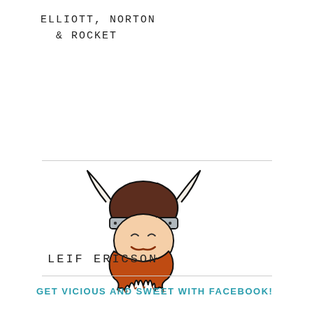ELLIOTT, NORTON
& ROCKET
[Figure (illustration): Cartoon illustration of a Viking head with a brown horned helmet, happy squinting eyes, peach face, and a large fluffy red-orange beard with jagged edges at the bottom. The helmet has a silver band and rivets.]
LEIF ERICSON
GET VICIOUS AND SWEET WITH FACEBOOK!